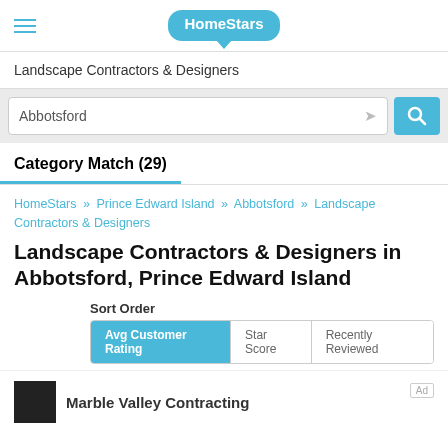HomeStars
Landscape Contractors & Designers
Abbotsford
Category Match (29)
HomeStars » Prince Edward Island » Abbotsford » Landscape Contractors & Designers
Landscape Contractors & Designers in Abbotsford, Prince Edward Island
Sort Order
Avg Customer Rating | Star Score | Recently Reviewed
Marble Valley Contracting